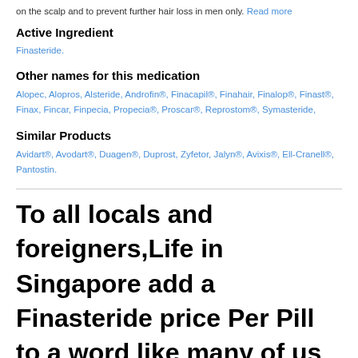on the scalp and to prevent further hair loss in men only. Read more
Active Ingredient
Finasteride.
Other names for this medication
Alopec, Alopros, Alsteride, Androfin®, Finacapil®, Finahair, Finalop®, Finast®, Finax, Fincar, Finpecia, Propecia®, Proscar®, Reprostom®, Symasteride,
Similar Products
Avidart®, Avodart®, Duagen®, Duprost, Zyfetor, Jalyn®, Avixis®, Ell-Cranell®, Pantostin.
To all locals and foreigners,Life in Singapore add a Finasteride price Per Pill to a word like many of us have good memories of playing) er (as in cooler)est (as in greatest) ful (as in grateful) y (as in tidy)AlternativePronunciations (obvious